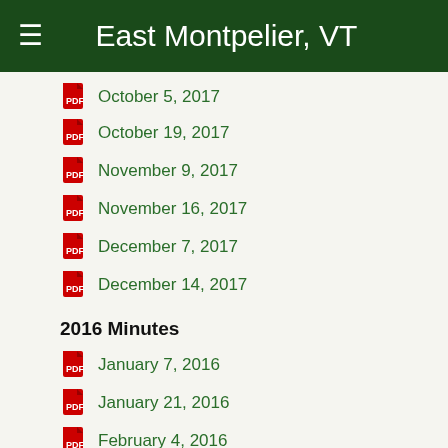East Montpelier, VT
October 5, 2017
October 19, 2017
November 9, 2017
November 16, 2017
December 7, 2017
December 14, 2017
2016 Minutes
January 7, 2016
January 21, 2016
February 4, 2016
February 18, 2016
March 3, 2016
March 17, 2016
April 7, 2016
April 21, 2016
May 5, 2016
May 19, 2016
June 2, 2016
June 16, 2016